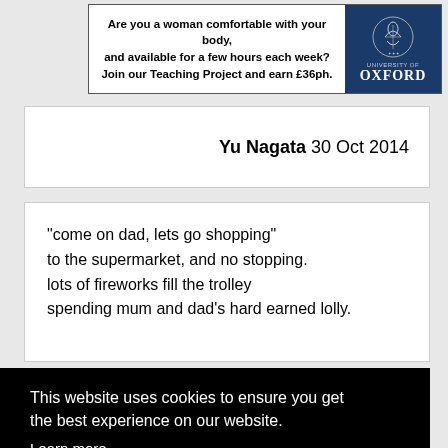[Figure (other): University of Oxford advertisement banner: text 'Are you a woman comfortable with your body, and available for a few hours each week? Join our Teaching Project and earn £36ph.' with Oxford University crest and logo on dark blue background.]
Yu Nagata 30 Oct 2014
"come on dad, lets go shopping"
to the supermarket, and no stopping.
lots of fireworks fill the trolley
spending mum and dad's hard earned lolly.
This website uses cookies to ensure you get the best experience on our website.
Learn more
Got it!